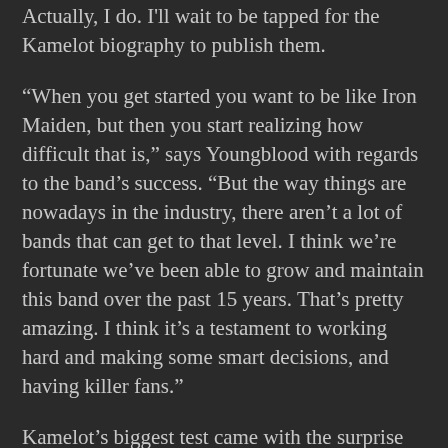Actually, I do. I'll wait to be tapped for the Kamelot biography to publish them.
“When you get started you want to be like Iron Maiden, but then you start realizing how difficult that is,” says Youngblood with regards to the band’s success. “But the way things are nowadays in the industry, there aren’t a lot of bands that can get to that level. I think we’re fortunate we’ve been able to grow and maintain this band over the past 15 years. That’s pretty amazing. I think it’s a testament to working hard and making some smart decisions, and having killer fans.”
Kamelot’s biggest test came with the surprise departure of vocalist Roy Khan in September 2010, mere days before the Poetry For The Poisoned tour was due to begin. The band downplayed the seriousness of the situation at the time – they could realistically have chosen to discontinue, but the